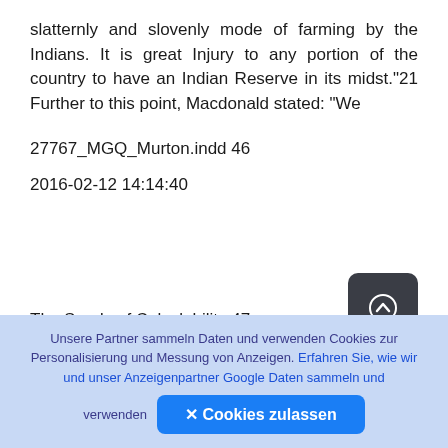slatternly and slovenly mode of farming by the Indians. It is great Injury to any portion of the country to have an Indian Reserve in its midst."21 Further to this point, Macdonald stated: “We
27767_MGQ_Murton.indd 46
2016-02-12 14:14:40
The Seeds of Calculability 47
cannot allow them to starve, and we cannot make
[Figure (other): Scroll-to-top button: dark rounded square with a circled up-arrow icon]
Unsere Partner sammeln Daten und verwenden Cookies zur Personalisierung und Messung von Anzeigen. Erfahren Sie, wie wir und unser Anzeigenpartner Google Daten sammeln und verwenden
✕ Cookies zulassen